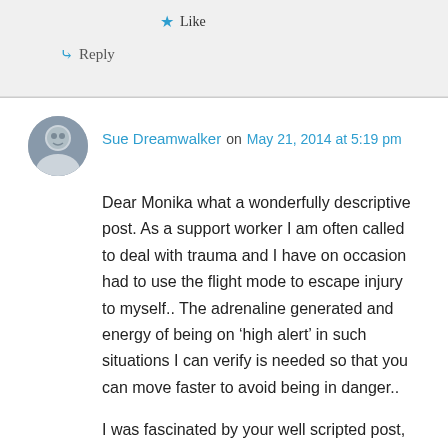Like
Reply
Sue Dreamwalker on May 21, 2014 at 5:19 pm
Dear Monika what a wonderfully descriptive post. As a support worker I am often called to deal with trauma and I have on occasion had to use the flight mode to escape injury to myself.. The adrenaline generated and energy of being on ‘high alert’ in such situations I can verify is needed so that you can move faster to avoid being in danger..
I was fascinated by your well scripted post, and I just loved the paintings and illustrations you